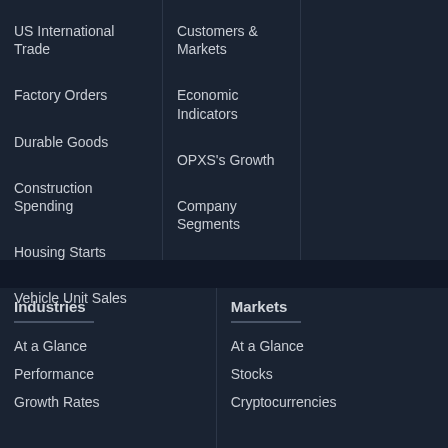US International Trade
Factory Orders
Durable Goods
Construction Spending
Housing Starts
Vehicle Unit Sales
Customers & Markets
Economic Indicators
OPXS's Growth
Company Segments
Industries
At a Glance
Performance
Growth Rates
Markets
At a Glance
Stocks
Cryptocurrencies